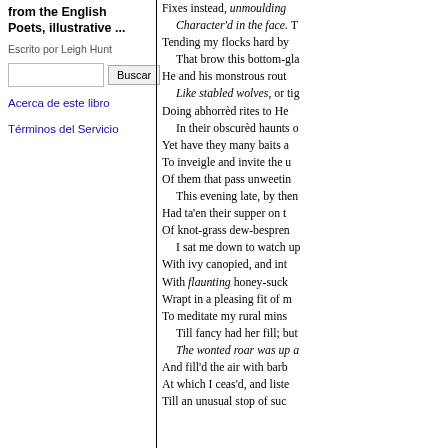from the English Poets, illustrative ...
Escrito por Leigh Hunt
Buscar (search box)
Acerca de este libro
Términos del Servicio
Fixes instead, unmoulding Character'd in the face. Tending my flocks hard by That brow this bottom-gla He and his monstrous rout Like stabled wolves, or tig Doing abhorrèd rites to He In their obscurèd haunts o Yet have they many baits a To inveigle and invite the u Of them that pass unweetin This evening late, by then Had ta'en their supper on t Of knot-grass dew-bespren I sat me down to watch up With ivy canopied, and int With flaunting honey-suck Wrapt in a pleasing fit of m To meditate my rural mins Till fancy had her fill; but The wonted roar was up a And fill'd the air with barb At which I ceas'd, and liste Till an unusual stop of suc